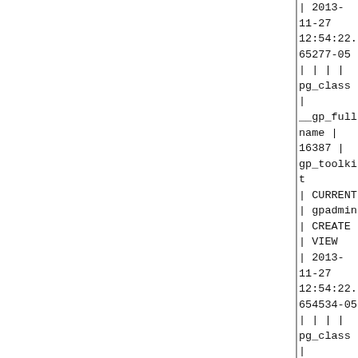| 2013-11-27 12:54:22.65277-05 | | | |
pg_class | __gp_fullname | 16387 | gp_toolkit | CURRENT | gpadmin | CREATE | VIEW
| 2013-11-27 12:54:22.654534-05 | | | |
pg_class | __gp_fullname | 16387 | gp_toolkit | CURRENT | gpadmin | PRIVILEGE | GRANT
| 2013-11-27 12:54:22.656615-05 | | | |
pg_class | __gp_user_namespaces | 16390 | gp_toolkit | CURRENT | gpadmin | CREATE | VIEW
| 2013-11-27 12:54:22.658216-05 | | | |
pg_class | __gp_user_namespaces | 16390 | gp_toolkit | CURRENT | gpadmin | PRIVILEGE | GRANT
| 2013-11-27 12:54:22.660281-05 | | | |
pg_class | __gp_user_tables | 16393 | gp_toolkit | CURRENT | gpadmin | CREATE | VIEW
| 2013-11-27 12:54:22.662167-05 | | | |
pg_class | __gp_user_tables | 16393 | gp_toolkit | CURRENT | gpadmin | PRIVILEGE | GRANT
| 2013-11-27 12:54:22.665061-05 | | | |
pg_class | __gp_user_data_tables | 16396 | gp_toolkit | CURRENT | gpadmin | CREATE | VIEW
| 2013-11-27 12:54:22.666971-05 | | | |
pg_class | __gp_user_data_tables | 16396 | gp_toolkit | CURRENT | gpadmin |